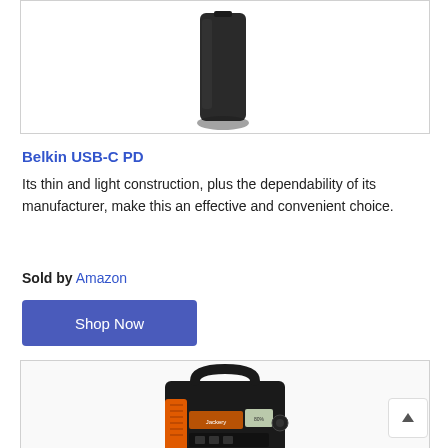[Figure (photo): Photo of a thin black power bank (Belkin USB-C PD) shown from side/edge angle against white background]
Belkin USB-C PD
Its thin and light construction, plus the dependability of its manufacturer, make this an effective and convenient choice.
Sold by Amazon
Shop Now
[Figure (photo): Photo of a Jackery portable power station (orange and black) with handle, display, and ports visible]